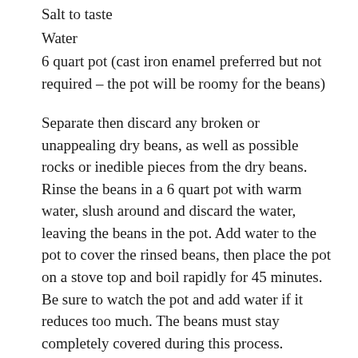Salt to taste
Water
6 quart pot (cast iron enamel preferred but not required – the pot will be roomy for the beans)
Separate then discard any broken or unappealing dry beans, as well as possible rocks or inedible pieces from the dry beans. Rinse the beans in a 6 quart pot with warm water, slush around and discard the water, leaving the beans in the pot. Add water to the pot to cover the rinsed beans, then place the pot on a stove top and boil rapidly for 45 minutes. Be sure to watch the pot and add water if it reduces too much. The beans must stay completely covered during this process.